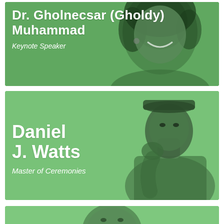[Figure (photo): Photo card of Dr. Gholnecsar (Gholdy) Muhammad with green overlay, labeled Keynote Speaker]
Dr. Gholnecsar (Gholdy) Muhammad
Keynote Speaker
[Figure (photo): Photo card of Daniel J. Watts with green overlay, labeled Master of Ceremonies]
Daniel J. Watts
Master of Ceremonies
[Figure (photo): Partial photo card at bottom of page, third speaker, cropped]